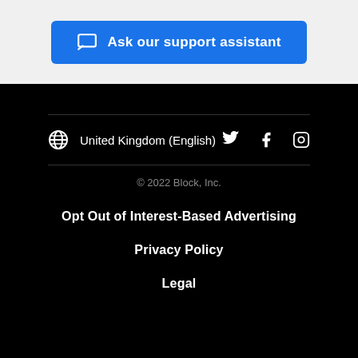Ask our support assistant
United Kingdom (English)
© 2022 Block, Inc.
Opt Out of Interest-Based Advertising
Privacy Policy
Legal